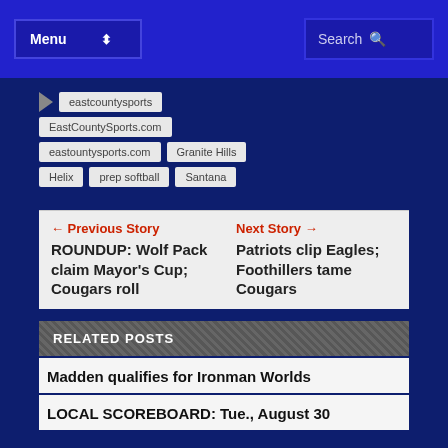Menu | Search
eastcountysports
EastCountySports.com
eastountysports.com
Granite Hills
Helix
prep softball
Santana
← Previous Story
ROUNDUP: Wolf Pack claim Mayor's Cup; Cougars roll
Next Story →
Patriots clip Eagles; Foothillers tame Cougars
RELATED POSTS
Madden qualifies for Ironman Worlds
LOCAL SCOREBOARD: Tue., August 30